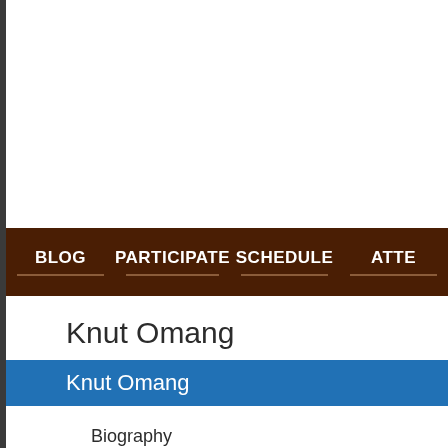BLOG | PARTICIPATE | SCHEDULE | ATTE...
Knut Omang
Knut Omang
Biography
Knut Omang has had a relationship with Unix and Linux since the m...